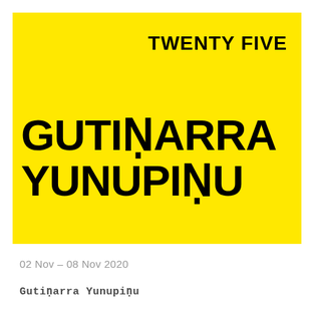TWENTY FIVE
GUTIṆARRA YUNUPIṆU
02 Nov - 08 Nov 2020
Gutiṇarra Yunupiṇu